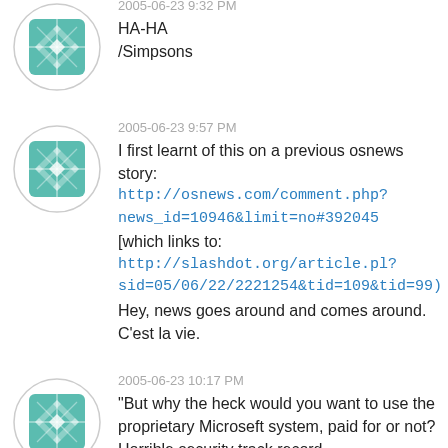[Figure (illustration): Teal geometric mandala/cross avatar icon in circular border]
2005-06-23 9:32 PM
HA-HA
/Simpsons
[Figure (illustration): Teal geometric mandala/cross avatar icon in circular border]
2005-06-23 9:57 PM
I first learnt of this on a previous osnews story:
http://osnews.com/comment.php?news_id=10946&limit=no#392045
[which links to:
http://slashdot.org/article.pl?sid=05/06/22/2221254&tid=109&tid=99)
Hey, news goes around and comes around. C'est la vie.
[Figure (illustration): Teal geometric mandala/cross avatar icon in circular border]
2005-06-23 10:17 PM
"But why the heck would you want to use the proprietary Microseft system, paid for or not? Horrible security track record,